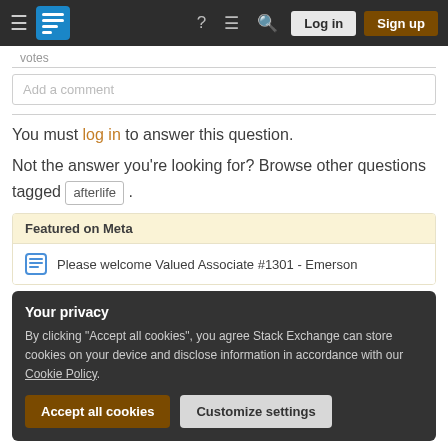Stack Exchange navigation bar with Log in and Sign up buttons
votes
Add a comment
You must log in to answer this question.
Not the answer you're looking for? Browse other questions tagged afterlife .
Featured on Meta
Please welcome Valued Associate #1301 - Emerson
Your privacy
By clicking "Accept all cookies", you agree Stack Exchange can store cookies on your device and disclose information in accordance with our Cookie Policy.
Accept all cookies
Customize settings
Related